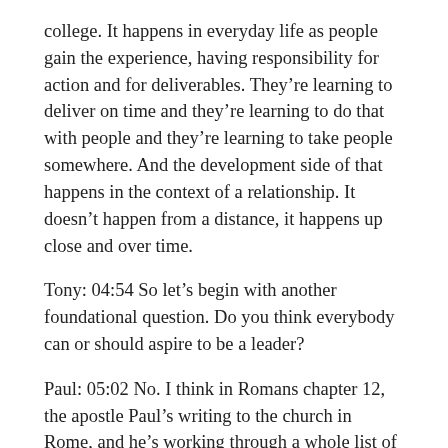college. It happens in everyday life as people gain the experience, having responsibility for action and for deliverables. They’re learning to deliver on time and they’re learning to do that with people and they’re learning to take people somewhere. And the development side of that happens in the context of a relationship. It doesn’t happen from a distance, it happens up close and over time.
Tony: 04:54 So let’s begin with another foundational question. Do you think everybody can or should aspire to be a leader?
Paul: 05:02 No. I think in Romans chapter 12, the apostle Paul’s writing to the church in Rome, and he’s working through a whole list of spiritual gifts. And he actually lists leadership as a spiritual gift.